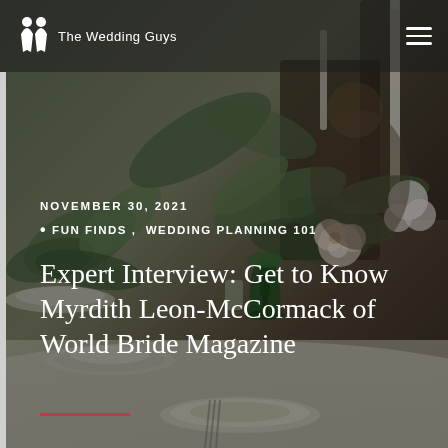[Figure (photo): Wedding table setting with greenery, flowers, green goblets, white plates, and candles, blurred background with a person seated.]
The Wedding Guys
NOVEMBER 30, 2021
• FUN FINDS , WEDDING PLANNING 101
Expert Interview: Get to Know Myrdith Leon-McCormack of World Bride Magazine